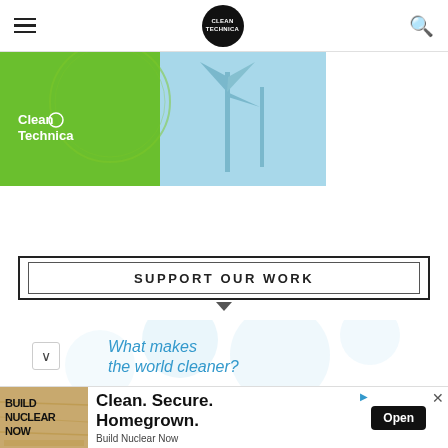CleanTechnica navigation bar with hamburger menu, logo, and search icon
[Figure (illustration): CleanTechnica banner image with green background on the left showing the CleanTechnica logo and a light blue background on the right with wind turbine illustration]
[Figure (infographic): SUPPORT OUR WORK button in a double-bordered rectangle with a downward chevron below it]
[Figure (screenshot): Partial view of 'What makes the world cleaner?' section with chevron navigation button and blue decorative bubbles in background]
[Figure (infographic): BUILD NUCLEAR NOW advertisement banner with text 'Clean. Secure. Homegrown.' and Open button]